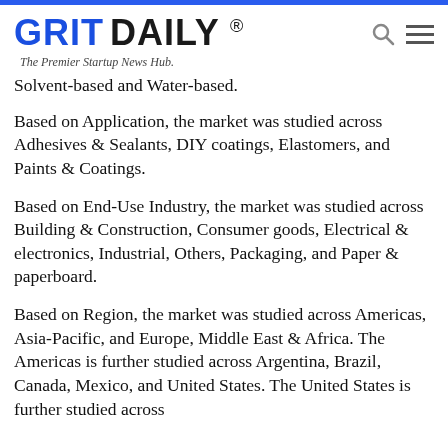GRIT DAILY ® — The Premier Startup News Hub.
Solvent-based and Water-based.
Based on Application, the market was studied across Adhesives & Sealants, DIY coatings, Elastomers, and Paints & Coatings.
Based on End-Use Industry, the market was studied across Building & Construction, Consumer goods, Electrical & electronics, Industrial, Others, Packaging, and Paper & paperboard.
Based on Region, the market was studied across Americas, Asia-Pacific, and Europe, Middle East & Africa. The Americas is further studied across Argentina, Brazil, Canada, Mexico, and United States. The United States is further studied across